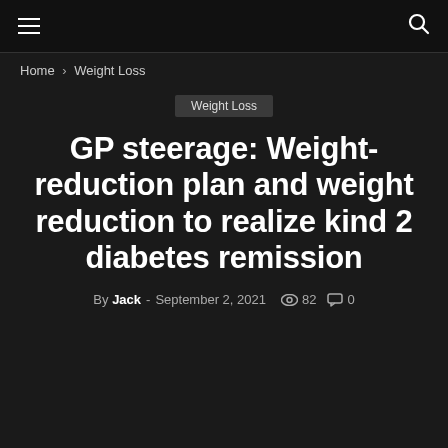≡   🔍
Home › Weight Loss
Weight Loss
GP steerage: Weight-reduction plan and weight reduction to realize kind 2 diabetes remission
By Jack - September 2, 2021  82  0